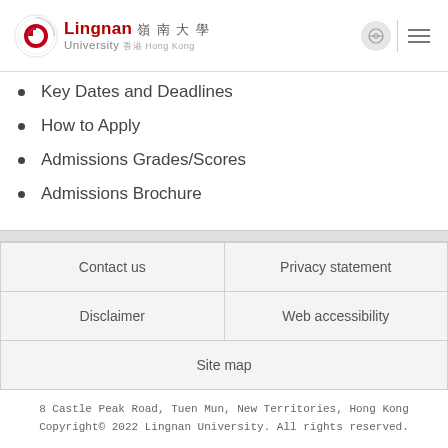Lingnan University 嶺南大學 Hong Kong
Key Dates and Deadlines
How to Apply
Admissions Grades/Scores
Admissions Brochure
| Contact us | Privacy statement |
| --- | --- |
| Disclaimer | Web accessibility |
| Site map |  |
8 Castle Peak Road, Tuen Mun, New Territories, Hong Kong
Copyright© 2022 Lingnan University. All rights reserved.